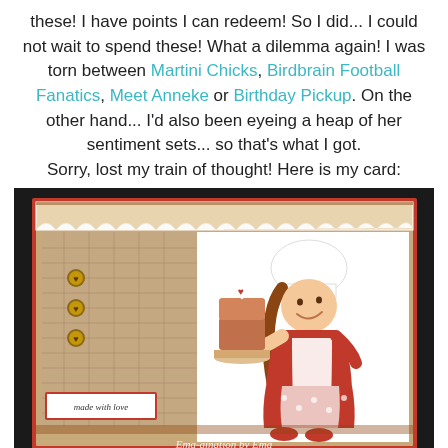these! I have points I can redeem! So I did... I could not wait to spend these! What a dilemma again! I was torn between Martini Chicks, Birdbrain Football Fanatics, Meet Anneke or Birthday Pickup. On the other hand... I'd also been eyeing a heap of her sentiment sets... so that's what I got. Sorry, lost my train of thought! Here is my card:
[Figure (photo): A handmade greeting card featuring a cute cartoon girl wearing a white chef's hat and red outfit holding a layered cake on a plate. The card has a burlap/kraft texture background, white lace trim at the top, heart-shaped brads on the left panel, a 'made with love' sentiment tag in the bottom left, and a watermark reading 'Ema-gination by Ema' at the bottom.]